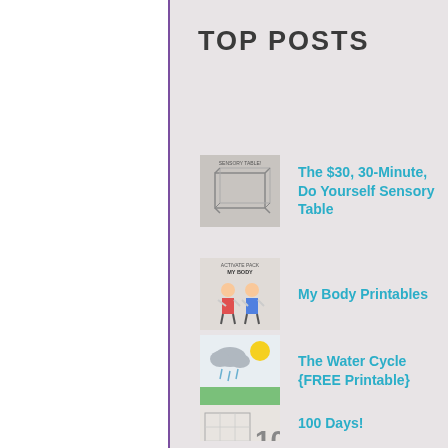TOP POSTS
The $30, 30-Minute, Do Yourself Sensory Table
My Body Printables
The Water Cycle {FREE Printable}
100 Days!
Shape Person